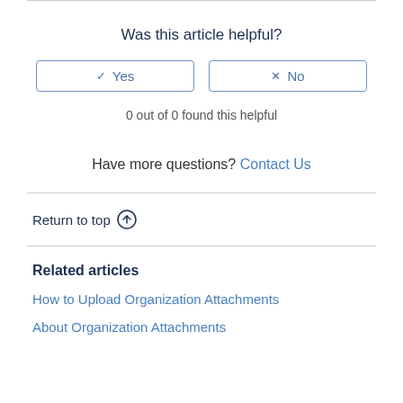Was this article helpful?
0 out of 0 found this helpful
Have more questions? Contact Us
Return to top ↑
Related articles
How to Upload Organization Attachments
About Organization Attachments